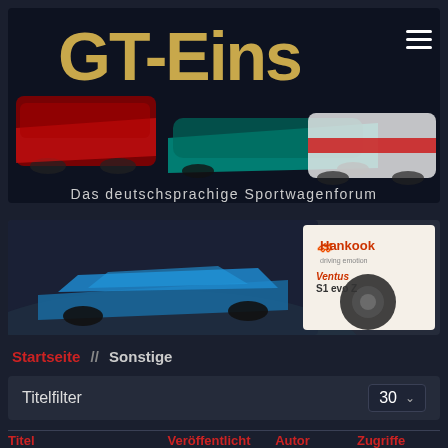[Figure (illustration): GT-Eins logo banner with three racing cars (Audi DTM, LMP prototype, Toyota GT) and text 'Das deutschsprachige Sportwagenforum' on dark background]
[Figure (illustration): Hankook Ventus S1 evo Z tire advertisement banner showing a blue sports car on a race track with Hankook logo and tire image on right side]
Startseite // Sonstige
Titelfilter
| Titel | Veröffentlicht | Autor | Zugriffe |
| --- | --- | --- | --- |